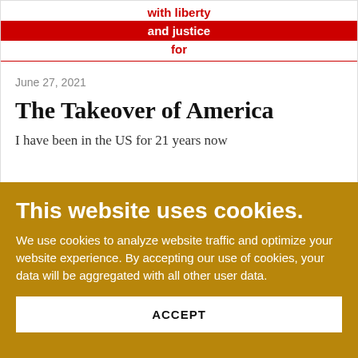with liberty
and justice
for
June 27, 2021
The Takeover of America
I have been in the US for 21 years now
This website uses cookies.
We use cookies to analyze website traffic and optimize your website experience. By accepting our use of cookies, your data will be aggregated with all other user data.
ACCEPT